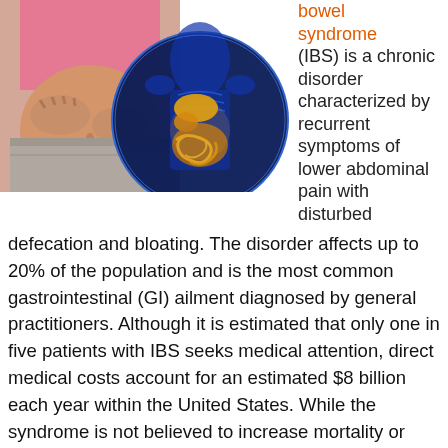[Figure (photo): Two medical images side by side: a woman in a pink top holding her abdomen in pain, and a blue-lit anatomical illustration of the human digestive/gastrointestinal system showing organs in gold]
bowel syndrome (IBS) is a chronic disorder characterized by recurrent symptoms of lower abdominal pain with disturbed defecation and bloating. The disorder affects up to 20% of the population and is the most common gastrointestinal (GI) ailment diagnosed by general practitioners. Although it is estimated that only one in five patients with IBS seeks medical attention, direct medical costs account for an estimated $8 billion each year within the United States. While the syndrome is not believed to increase mortality or predispose patients to serious complications, it does significantly affect quality of life and has been identified as the second leading cause of absenteeism from work or school.